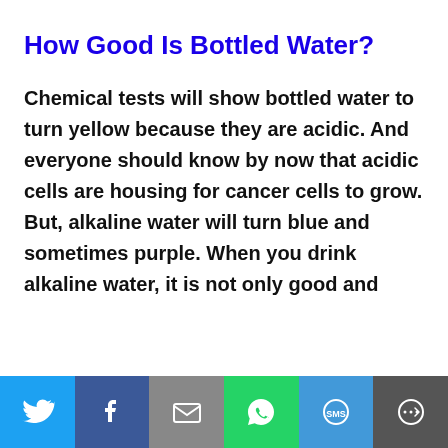How Good Is Bottled Water?
Chemical tests will show bottled water to turn yellow because they are acidic. And everyone should know by now that acidic cells are housing for cancer cells to grow. But, alkaline water will turn blue and sometimes purple. When you drink alkaline water, it is not only good and
[Figure (infographic): Social media share bar at the bottom with Twitter, Facebook, Email, WhatsApp, SMS, and More buttons]